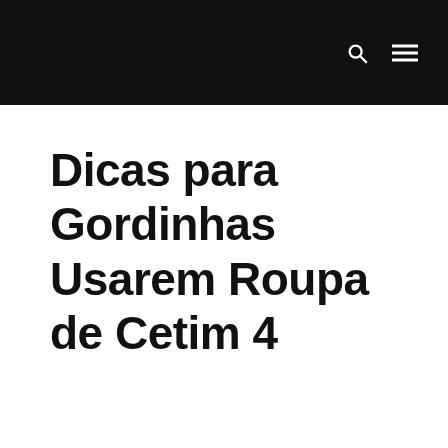Dicas para Gordinhas Usarem Roupa de Cetim 4